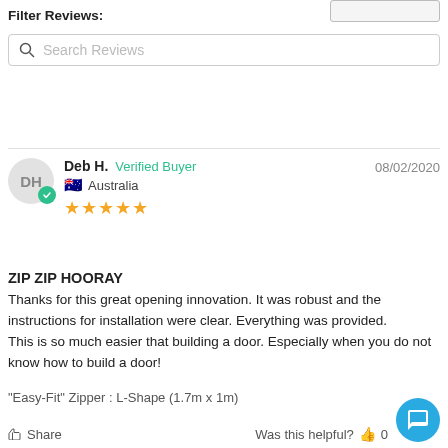Filter Reviews:
Search Reviews (search input placeholder)
Deb H.  Verified Buyer  08/02/2020  Australia  ★★★★★
ZIP ZIP HOORAY
Thanks for this great opening innovation. It was robust and the instructions for installation were clear. Everything was provided.
This is so much easier that building a door. Especially when you do not know how to build a door!
"Easy-Fit" Zipper : L-Shape (1.7m x 1m)
Share  Was this helpful?  👍 0